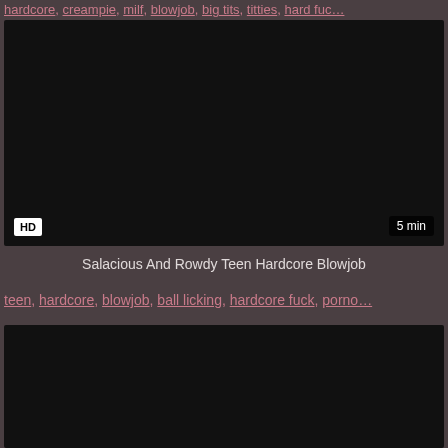hardcore, creampie, milf, blowjob, big tits, titties, hard fuc…
[Figure (screenshot): Dark video thumbnail with HD badge in bottom left and '5 min' duration badge in bottom right]
Salacious And Rowdy Teen Hardcore Blowjob
teen, hardcore, blowjob, ball licking, hardcore fuck, porno…
[Figure (screenshot): Dark video thumbnail at bottom of page]